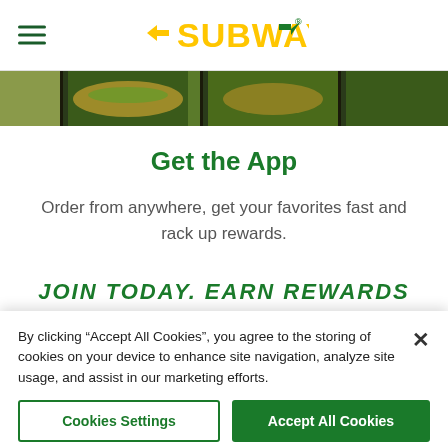SUBWAY
[Figure (photo): Hero banner strip showing Subway sandwich images]
Get the App
Order from anywhere, get your favorites fast and rack up rewards.
JOIN TODAY. EARN REWARDS
By clicking “Accept All Cookies”, you agree to the storing of cookies on your device to enhance site navigation, analyze site usage, and assist in our marketing efforts.
Cookies Settings | Accept All Cookies